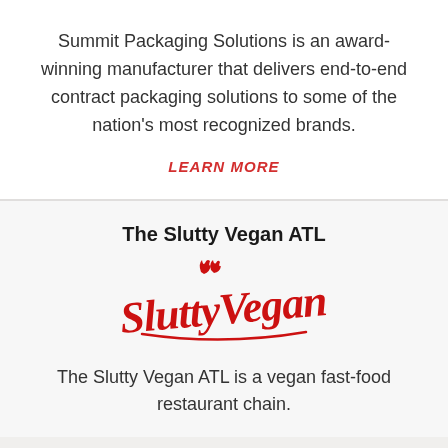Summit Packaging Solutions is an award-winning manufacturer that delivers end-to-end contract packaging solutions to some of the nation's most recognized brands.
LEARN MORE
The Slutty Vegan ATL
[Figure (logo): Slutty Vegan stylized red script logo with flame decorations]
The Slutty Vegan ATL is a vegan fast-food restaurant chain.